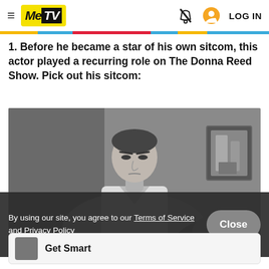MeTV — LOG IN
1. Before he became a star of his own sitcom, this actor played a recurring role on The Donna Reed Show. Pick out his sitcom:
[Figure (photo): Black and white still from a TV show featuring a man in a white shirt looking down, with a framed picture on the wall behind him]
By using our site, you agree to our Terms of Service and Privacy Policy
Close
Get Smart